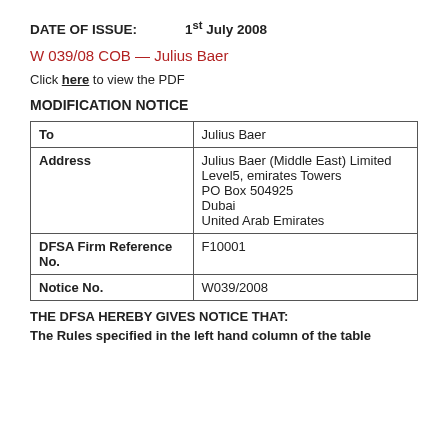DATE OF ISSUE: 1st July 2008
W 039/08 COB — Julius Baer
Click here to view the PDF
MODIFICATION NOTICE
|  |  |
| --- | --- |
| To | Julius Baer |
| Address | Julius Baer (Middle East) Limited
Level5, emirates Towers
PO Box 504925
Dubai
United Arab Emirates |
| DFSA Firm Reference No. | F10001 |
| Notice No. | W039/2008 |
THE DFSA HEREBY GIVES NOTICE THAT:
The Rules specified in the left hand column of the table